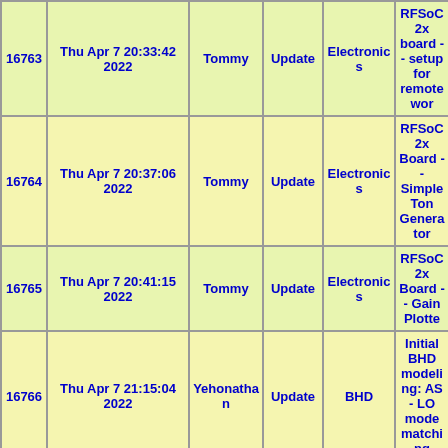| ID | Date | User | Type | Category | Title |
| --- | --- | --- | --- | --- | --- |
| 16763 | Thu Apr 7 20:33:42 2022 | Tommy | Update | Electronics | RFSoC 2x board -- setup for remote wor |
| 16764 | Thu Apr 7 20:37:06 2022 | Tommy | Update | Electronics | RFSoC 2x Board -- Simple Ton Generator |
| 16765 | Thu Apr 7 20:41:15 2022 | Tommy | Update | Electronics | RFSoC 2x Board -- Gain Plotte |
| 16766 | Thu Apr 7 21:15:04 2022 | Yehonathan | Update | BHD | Initial BHD modeling: AS - LO mode matching |
| 16767 | Fri Apr 8 16:03:58 2022 | rana | Update | Electronics | RFSoC 2x board -- setup for remote wor & BALUN saga |
| 16768 | Fri Apr 8 17:21:31 2022 | Ian MacMillan | Summary | BHD | Part IIa of BHR upgrade - l laser alignment on Yarm |